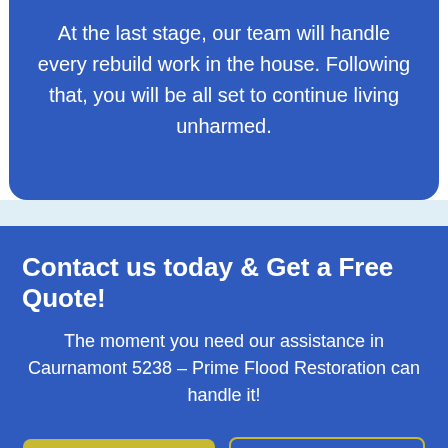At the last stage, our team will handle every rebuild work in the house. Following that, you will be all set to continue living unharmed.
Contact us today & Get a Free Quote!
The moment you need our assistance in Caurnamont 5238 – Prime Flood Restoration can handle it!